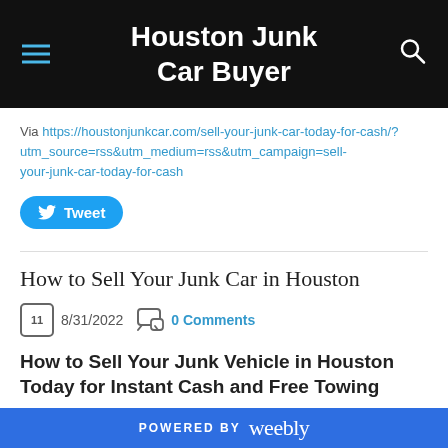Houston Junk Car Buyer
Via https://houstonjunkcar.com/sell-your-junk-car-today-for-cash/?utm_source=rss&utm_medium=rss&utm_campaign=sell-your-junk-car-today-for-cash
Tweet
How to Sell Your Junk Car in Houston
8/31/2022   0 Comments
How to Sell Your Junk Vehicle in Houston Today for Instant Cash and Free Towing
POWERED BY weebly